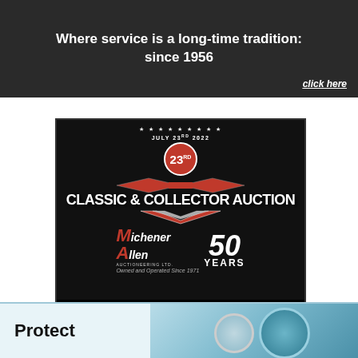[Figure (infographic): Dark grey advertisement banner. Text: 'Where service is a long-time tradition: since 1956' with 'click here' link on the right.]
[Figure (infographic): Michener Allen Auctioneering Ltd. 23rd Classic & Collector Auction advertisement. July 23rd 2022. 50 Years. Owned and Operated Since 1971. www.maauctions.com]
[Figure (infographic): Bottom advertisement banner with car interior/dashboard imagery and bold text 'Protect']